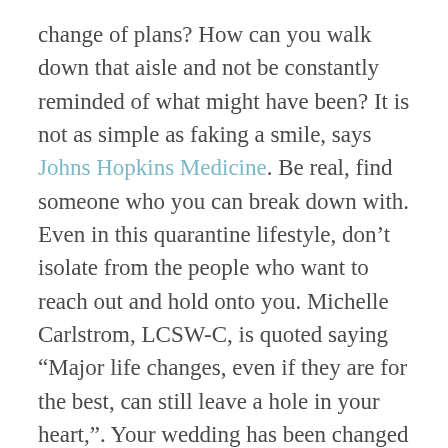change of plans? How can you walk down that aisle and not be constantly reminded of what might have been? It is not as simple as faking a smile, says Johns Hopkins Medicine. Be real, find someone who you can break down with. Even in this quarantine lifestyle, don't isolate from the people who want to reach out and hold onto you. Michelle Carlstrom, LCSW-C, is quoted saying “Major life changes, even if they are for the best, can still leave a hole in your heart,”. Your wedding has been changed and I am sure you have heard way too many times that “It is for the best” or “This is the best for everyone’s health”. That does not mean you are not allowed to grieve the loss of this day, because that is exactly what this is...